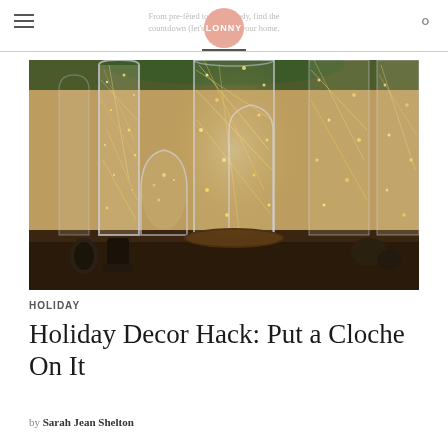LONNY — From pre-fêted to party-ready, find the countdown (let's party) for your home.
[Figure (photo): Glass cloches and cylinders filled with warm golden fairy lights arranged on a dark wooden surface, with pine boughs visible in the background. The lights create a magical, sparkling effect inside the clear glass vessels.]
HOLIDAY
Holiday Decor Hack: Put a Cloche On It
by Sarah Jean Shelton